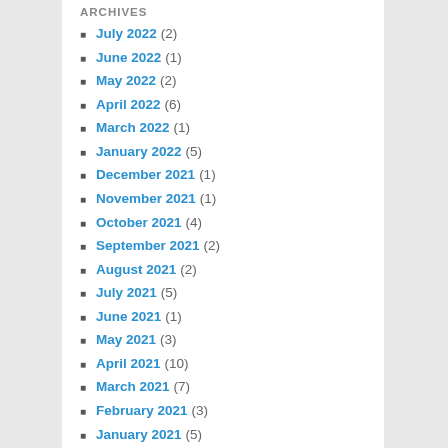ARCHIVES
July 2022 (2)
June 2022 (1)
May 2022 (2)
April 2022 (6)
March 2022 (1)
January 2022 (5)
December 2021 (1)
November 2021 (1)
October 2021 (4)
September 2021 (2)
August 2021 (2)
July 2021 (5)
June 2021 (1)
May 2021 (3)
April 2021 (10)
March 2021 (7)
February 2021 (3)
January 2021 (5)
December 2020 (2)
November 2020 (4)